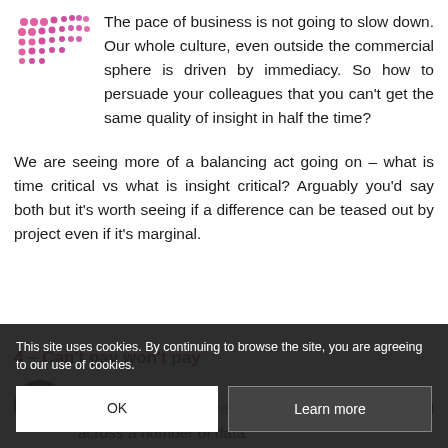[Figure (logo): Pink/magenta dot grid logo with small dots arranged in a triangular or rectangular pattern]
The pace of business is not going to slow down. Our whole culture, even outside the commercial sphere is driven by immediacy. So how to persuade your colleagues that you can't get the same quality of insight in half the time?
We are seeing more of a balancing act going on – what is time critical vs what is insight critical? Arguably you'd say both but it's worth seeing if a difference can be teased out by project even if it's marginal.
4 – Can't pay won't pay
[Figure (illustration): Small circular icon with a figure/person silhouette, dark reddish-brown background]
B… down or being stretched across a number of data
This site uses cookies. By continuing to browse the site, you are agreeing to our use of cookies.